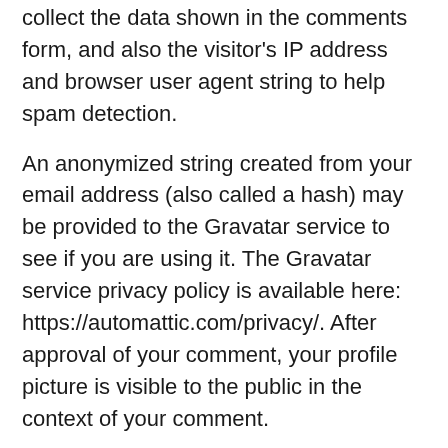collect the data shown in the comments form, and also the visitor's IP address and browser user agent string to help spam detection.
An anonymized string created from your email address (also called a hash) may be provided to the Gravatar service to see if you are using it. The Gravatar service privacy policy is available here: https://automattic.com/privacy/. After approval of your comment, your profile picture is visible to the public in the context of your comment.
MEDIA
If you upload images to the website, you should avoid uploading images with embedded location data (EXIF GPS) included. Visitors to